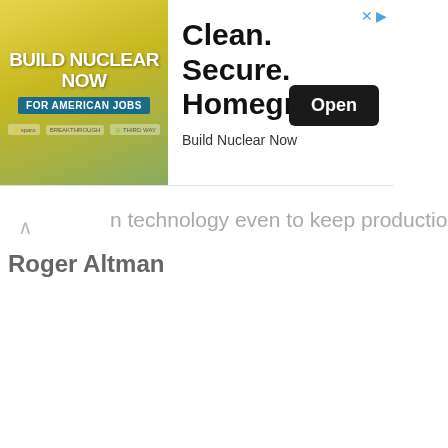[Figure (other): Advertisement banner for 'Build Nuclear Now' campaign. Left side: yellow-green illustrated background with bold white text 'BUILD NUCLEAR NOW' and 'FOR AMERICAN JOBS' in teal box, with small sponsor logos. Right side: white background with large bold text 'Clean. Secure. Homegrown.' and 'Build Nuclear Now' subtext, plus a dark 'Open' button and close/arrow icons in top-right corner.]
n technology even to keep production flat.
Roger Altman